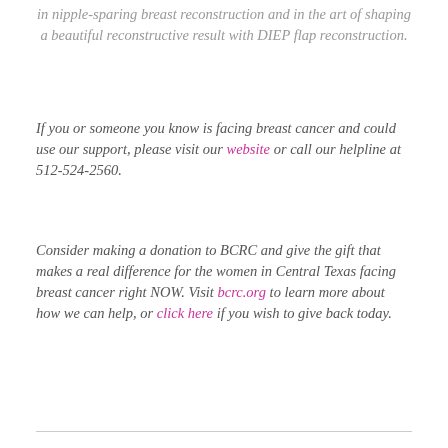in nipple-sparing breast reconstruction and in the art of shaping a beautiful reconstructive result with DIEP flap reconstruction.
If you or someone you know is facing breast cancer and could use our support, please visit our website or call our helpline at 512-524-2560.
Consider making a donation to BCRC and give the gift that makes a real difference for the women in Central Texas facing breast cancer right NOW. Visit bcrc.org to learn more about how we can help, or click here if you wish to give back today.